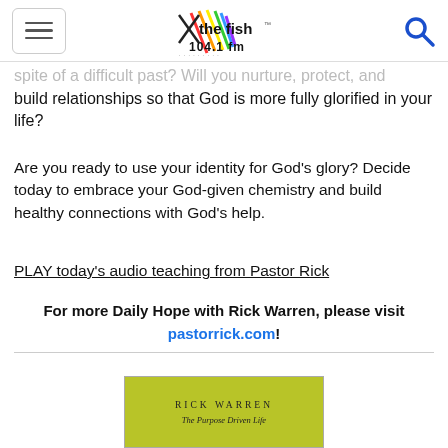the fish 104.1 fm
spite of a difficult past? Will you nurture, protect, and build relationships so that God is more fully glorified in your life?
Are you ready to use your identity for God’s glory? Decide today to embrace your God-given chemistry and build healthy connections with God’s help.
PLAY today’s audio teaching from Pastor Rick
For more Daily Hope with Rick Warren, please visit pastorrick.com!
[Figure (photo): Bottom portion of a Rick Warren book cover with yellow-green background showing author name RICK WARREN]